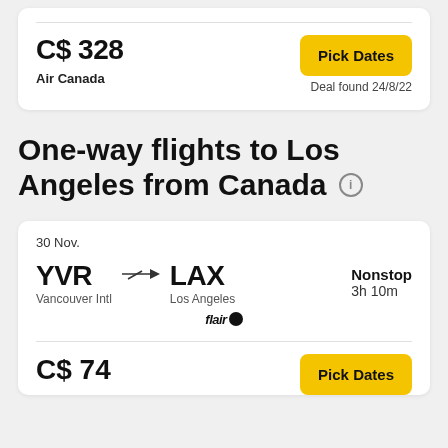C$ 328
Air Canada
Pick Dates
Deal found 24/8/22
One-way flights to Los Angeles from Canada
30 Nov.
YVR
Vancouver Intl
LAX
Los Angeles
Nonstop
3h 10m
flair
C$ 74
Pick Dates